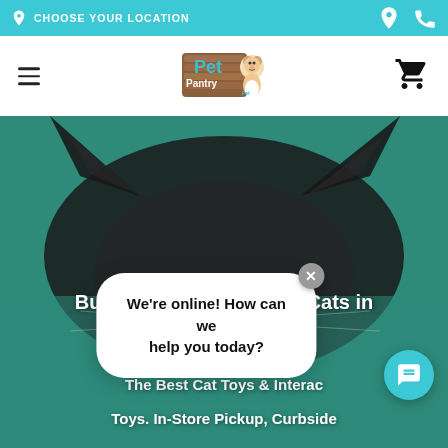CHOOSE YOUR LOCATION
[Figure (logo): Pet Pantry logo with dog illustration and text]
Buy Interactive Toys for Cats in Connecticut
The Best Cat Toys & Interactive Toys. In-Store Pickup, Curbside Pickup, and Delivery
We're online! How can we help you today?